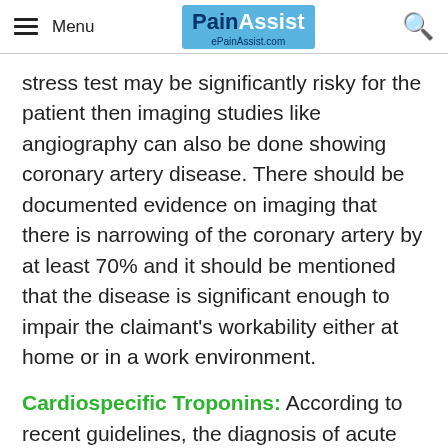Menu | PainAssist ePainAssist.com
stress test may be significantly risky for the patient then imaging studies like angiography can also be done showing coronary artery disease. There should be documented evidence on imaging that there is narrowing of the coronary artery by at least 70% and it should be mentioned that the disease is significant enough to impair the claimant's workability either at home or in a work environment.
Cardiospecific Troponins: According to recent guidelines, the diagnosis of acute myocardial infarction (AMI) is based on increased or